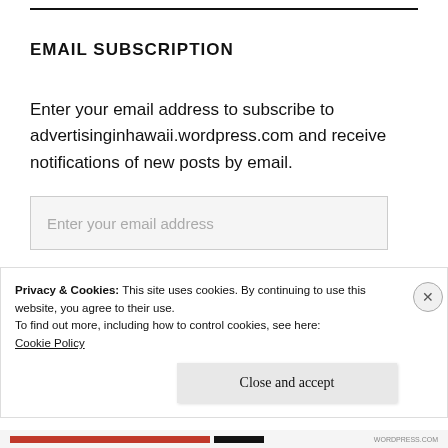EMAIL SUBSCRIPTION
Enter your email address to subscribe to advertisinginhawaii.wordpress.com and receive notifications of new posts by email.
[Figure (screenshot): Email input text field with placeholder text 'Enter your email address']
[Figure (screenshot): Black button labeled 'SIGN ME UP!']
Privacy & Cookies: This site uses cookies. By continuing to use this website, you agree to their use.
To find out more, including how to control cookies, see here:
Cookie Policy
Close and accept